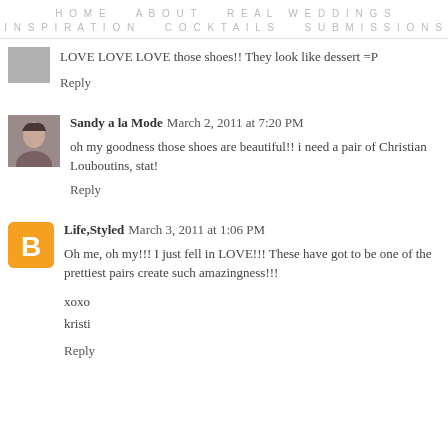HOME   ABOUT   REAL WEDDINGS   INSPIRATION   COCKTAILS   SUBMISSIONS
LOVE LOVE LOVE those shoes!! They look like dessert =P
Reply
[Figure (photo): Small avatar photo of Sandy a la Mode, a woman with dark hair]
Sandy a la Mode  March 2, 2011 at 7:20 PM
oh my goodness those shoes are beautiful!! i need a pair of Christian Louboutins, stat!
Reply
[Figure (logo): Orange Blogger icon with white B letter]
Life,Styled  March 3, 2011 at 1:06 PM
Oh me, oh my!!! I just fell in LOVE!!! These have got to be one of the prettiest pairs create such amazingness!!!
xoxo
kristi
Reply